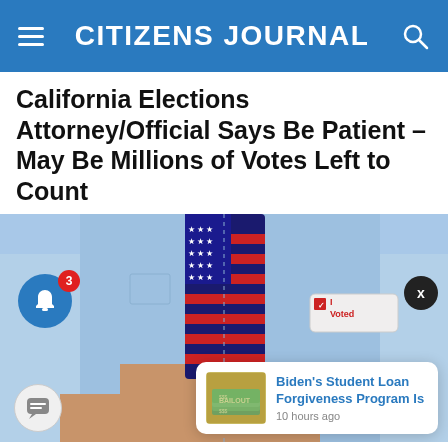CITIZENS JOURNAL
California Elections Attorney/Official Says Be Patient – May Be Millions of Votes Left to Count
[Figure (photo): A person in a light blue shirt and American flag tie, with an 'I Voted' sticker on their chest, hand placed over heart. Overlaid UI elements include a notification bell with badge '3', an X close button, and a notification card for 'Biden's Student Loan Forgiveness Program Is' from 10 hours ago with a money image.]
Biden's Student Loan Forgiveness Program Is
10 hours ago